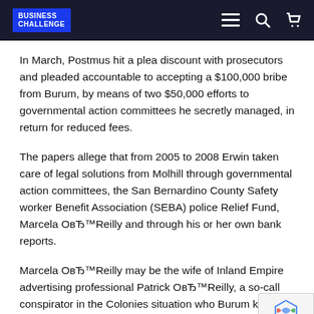BUSINESS CHALLENGE
In March, Postmus hit a plea discount with prosecutors and pleaded accountable to accepting a $100,000 bribe from Burum, by means of two $50,000 efforts to governmental action committees he secretly managed, in return for reduced fees.
The papers allege that from 2005 to 2008 Erwin taken care of legal solutions from Molhill through governmental action committees, the San Bernardino County Safety worker Benefit Association (SEBA) police Relief Fund, Marcela ОвЂ™Reilly and through his or her own bank reports.
Marcela ОвЂ™Reilly may be the wife of Inland Empire advertising professional Patrick ОвЂ™Reilly, a so-call conspirator in the Colonies situation who Burum kno their closest friend during their testimony ahead of the